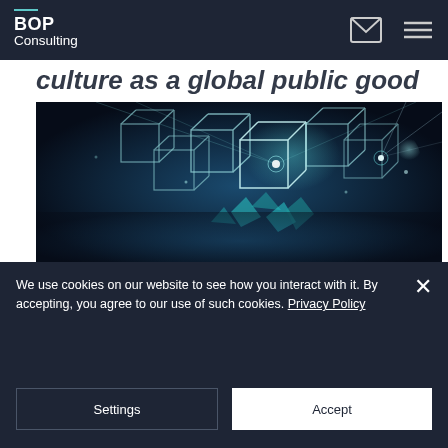BOP Consulting
culture as a global public good
[Figure (photo): Dark abstract image showing glowing geometric wireframe cube shapes floating in a blue-teal lit space, suggesting blockchain or digital network technology.]
European Commission
We use cookies on our website to see how you interact with it. By accepting, you agree to our use of such cookies. Privacy Policy
Settings
Accept